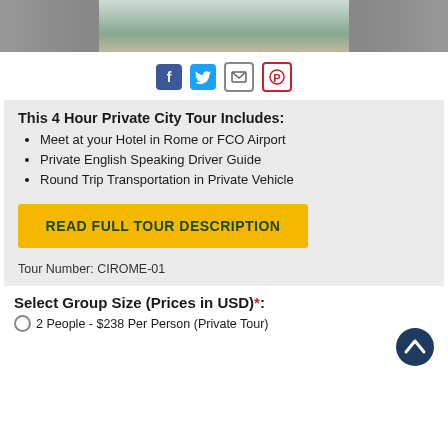[Figure (photo): Partial view of a waterfall over rocks, cropped at the top of the page]
[Figure (infographic): Social sharing icons: Facebook (blue), Twitter (blue bird), Email (envelope), Pinterest (red P)]
This 4 Hour Private City Tour Includes:
Meet at your Hotel in Rome or FCO Airport
Private English Speaking Driver Guide
Round Trip Transportation in Private Vehicle
READ FULL TOUR DESCRIPTION
Tour Number: CIROME-01
Select Group Size (Prices in USD)*:
2 People - $238 Per Person (Private Tour)